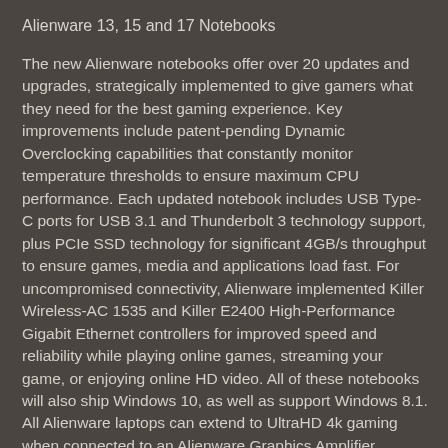Alienware 13, 15 and 17 Notebooks
The new Alienware notebooks offer over 20 updates and upgrades, strategically implemented to give gamers what they need for the best gaming experience. Key improvements include patent-pending Dynamic Overclocking capabilities that constantly monitor temperature thresholds to ensure maximum CPU performance. Each updated notebook includes USB Type-C ports for USB 3.1 and Thunderbolt 3 technology support, plus PCIe SSD technology for significant 4GB/s throughput to ensure games, media and applications load fast. For uncompromised connectivity, Alienware implemented Killer Wireless-AC 1535 and Killer E2400 High-Performance Gigabit Ethernet controllers for improved speed and reliability while playing online games, streaming your game, or enjoying online HD video. All of these notebooks will also ship Windows 10, as well as support Windows 8.1. All Alienware laptops can extend to UltraHD 4k gaming when connected to an Alienware Graphics Amplifier featuring a 4k capable graphics card and an optional 4k display.
Among the unique options offered in the updated portfolio,